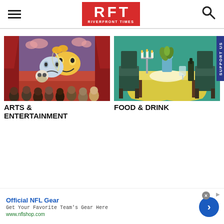[Figure (logo): RFT Riverfront Times logo - red background with white block letters R, F, T and RIVERFRONT TIMES text below]
[Figure (illustration): Arts & Entertainment illustration: theater stage with comedy/tragedy masks and audience silhouettes, cartoon style]
ARTS & ENTERTAINMENT
[Figure (illustration): Food & Drink illustration: restaurant table with yellow tablecloth, two dark chairs, candelabra and vase on table, teal background]
FOOD & DRINK
Official NFL Gear
Get Your Favorite Team's Gear Here
www.nflshop.com